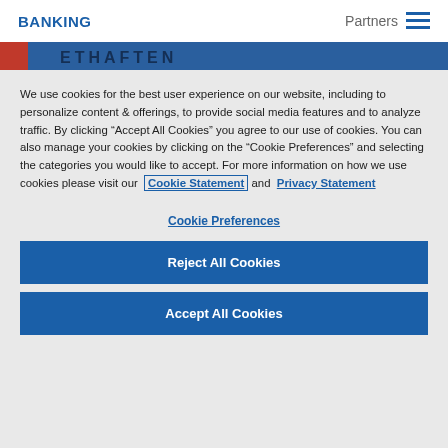BANKING   Partners
[Figure (screenshot): Dark blue banner strip with logo/brand text partially visible]
We use cookies for the best user experience on our website, including to personalize content & offerings, to provide social media features and to analyze traffic. By clicking “Accept All Cookies” you agree to our use of cookies. You can also manage your cookies by clicking on the “Cookie Preferences” and selecting the categories you would like to accept. For more information on how we use cookies please visit our Cookie Statement and Privacy Statement
Cookie Preferences
Reject All Cookies
Accept All Cookies